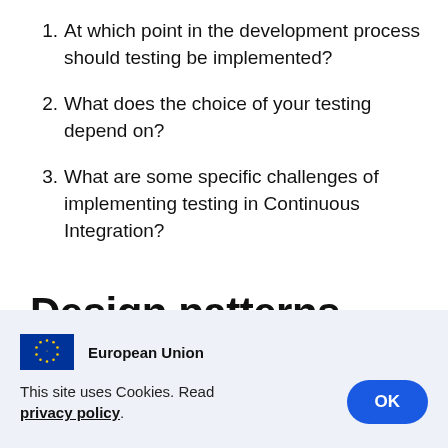At which point in the development process should testing be implemented?
What does the choice of your testing depend on?
What are some specific challenges of implementing testing in Continuous Integration?
Design patterns
[Figure (logo): European Union flag logo with text 'European Union']
This site uses Cookies. Read privacy policy.